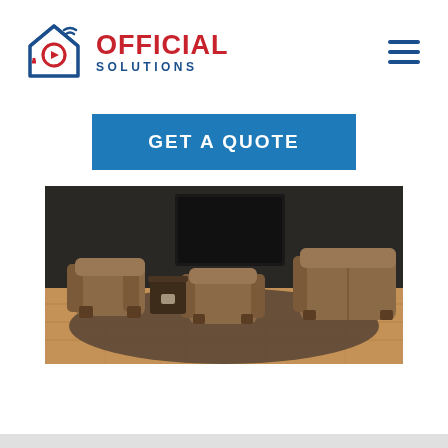[Figure (logo): Official Solutions logo with house/smart home icon in blue and red, company name in red (OFFICIAL) and blue (SOLUTIONS)]
[Figure (other): Hamburger menu icon (three horizontal blue lines) in top right corner]
[Figure (other): Blue button with white text reading GET A QUOTE]
[Figure (photo): Interior living room photo showing modern brown/tan armchairs and sofa arranged on a dark rug over hardwood floors, with a dark coffee table and TV in background]